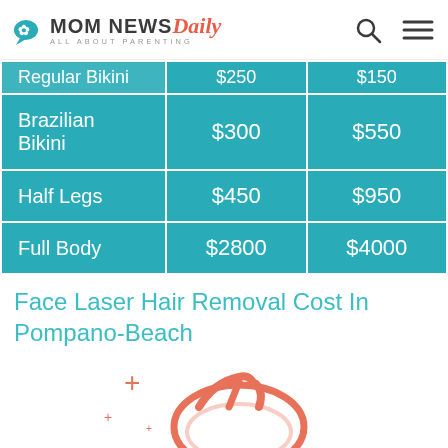MOM NEWS Daily — ALL ABOUT PARENTING
|  |  |  |
| --- | --- | --- |
| Regular Bikini | $250 | $150 |
| Brazilian Bikini | $300 | $550 |
| Half Legs | $450 | $950 |
| Full Body | $2800 | $4000 |
Face Laser Hair Removal Cost In Pompano-Beach
[Figure (illustration): Illustrated flip-flop sandal icon in coral/salmon color with decorative plus/sparkle symbols]